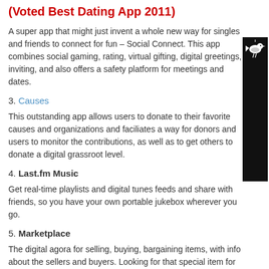(Voted Best Dating App 2011)
A super app that might just invent a whole new way for singles and friends to connect for fun – Social Connect. This app combines social gaming, rating, virtual gifting, digital greetings, inviting, and also offers a safety platform for meetings and dates.
3. Causes
This outstanding app allows users to donate to their favorite causes and organizations and faciliates a way for donors and users to monitor the contributions, as well as to get others to donate a digital grassroot level.
4. Last.fm Music
Get real-time playlists and digital tunes feeds and share with friends, so you have your own portable jukebox wherever you go.
5. Marketplace
The digital agora for selling, buying, bargaining items, with info about the sellers and buyers. Looking for that special item for going to that party or adding to your collection, then the Marketplace is for you.
6. Picnik